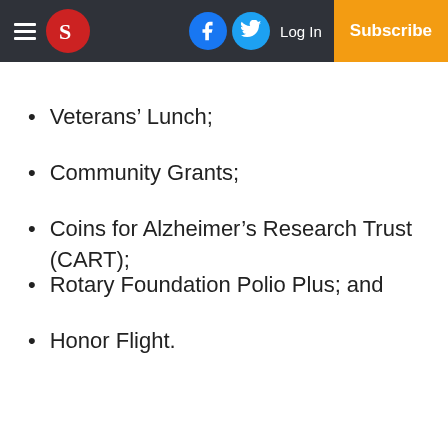S logo navigation bar with hamburger menu, Facebook, Twitter, Log In, Subscribe
Veterans' Lunch;
Community Grants;
Coins for Alzheimer's Research Trust (CART);
Rotary Foundation Polio Plus; and
Honor Flight.